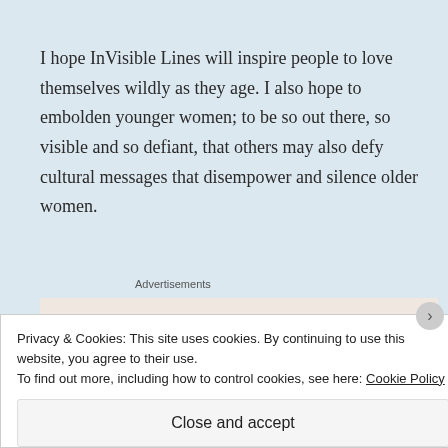I hope InVisible Lines will inspire people to love themselves wildly as they age. I also hope to embolden younger women; to be so out there, so visible and so defiant, that others may also defy cultural messages that disempower and silence older women.
Advertisements
[Figure (other): Partial advertisement banner showing 'Business in' text in large bold font on a light beige background]
Privacy & Cookies: This site uses cookies. By continuing to use this website, you agree to their use.
To find out more, including how to control cookies, see here: Cookie Policy
Close and accept